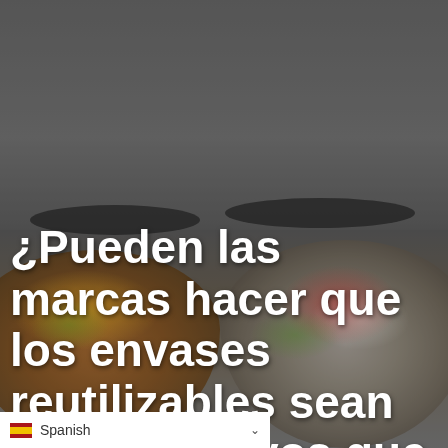[Figure (photo): Two food bowls on a gray background — left bowl contains orange/citrus fruits, right bowl contains a colorful salad with greens, tomatoes, and white cheese. Image is partially darkened with a semi-transparent overlay.]
¿Pueden las marcas hacer que los envases reutilizables sean más atractivos que
Spanish